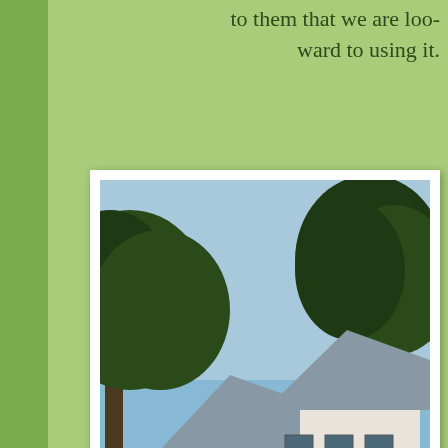to them that we are loo ward to using it.
[Figure (photo): Exterior photo of a white two-story house with metal roof and detached garage, large trees in background, green lawn in foreground, car parked in driveway]